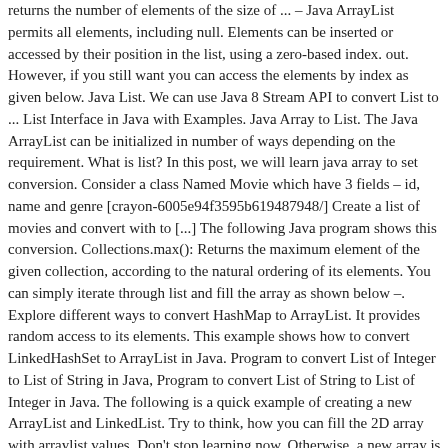returns the number of elements of the size of ... – Java ArrayList permits all elements, including null. Elements can be inserted or accessed by their position in the list, using a zero-based index. out. However, if you still want you can access the elements by index as given below. Java List. We can use Java 8 Stream API to convert List to ... List Interface in Java with Examples. Java Array to List. The Java ArrayList can be initialized in number of ways depending on the requirement. What is list? In this post, we will learn java array to set conversion. Consider a class Named Movie which have 3 fields – id, name and genre [crayon-6005e94f3595b619487948/] Create a list of movies and convert with to [...] The following Java program shows this conversion. Collections.max(): Returns the maximum element of the given collection, according to the natural ordering of its elements. You can simply iterate through list and fill the array as shown below –. Explore different ways to convert HashMap to ArrayList. It provides random access to its elements. This example shows how to convert LinkedHashSet to ArrayList in Java. Program to convert List of Integer to List of String in Java, Program to convert List of String to List of Integer in Java. The following is a quick example of creating a new ArrayList and LinkedList. Try to think, how you can fill the 2D array with arraylist values. Don't stop learning now. Otherwise, a new array is allocated with the runtime type of the specified array and the size of this list. Java List tutorial and examples for beginners. Java provides an in-built interface <> to perform list as well as other class-based functions. How to